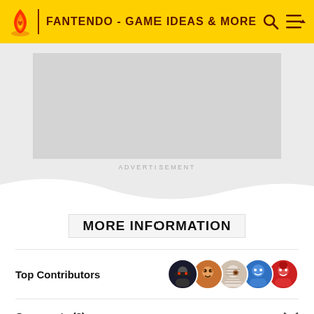FANTENDO - GAME IDEAS & MORE
[Figure (other): Advertisement placeholder gray box]
ADVERTISEMENT
MORE INFORMATION
Top Contributors
Comments (2)
Categories